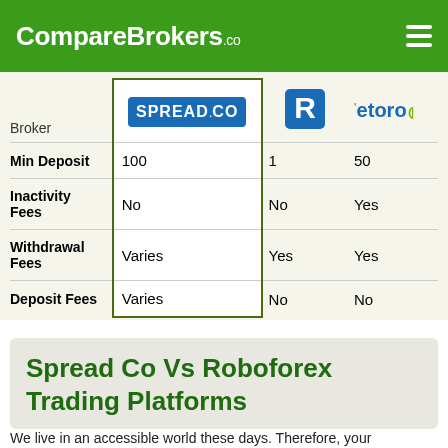CompareBrokers.co
| Broker | SPREAD.CO | Roboforex | eToro |
| --- | --- | --- | --- |
| Min Deposit | 100 | 1 | 50 |
| Inactivity Fees | No | No | Yes |
| Withdrawal Fees | Varies | Yes | Yes |
| Deposit Fees | Varies | No | No |
Spread Co Vs Roboforex Trading Platforms
We live in an accessible world these days. Therefore, your